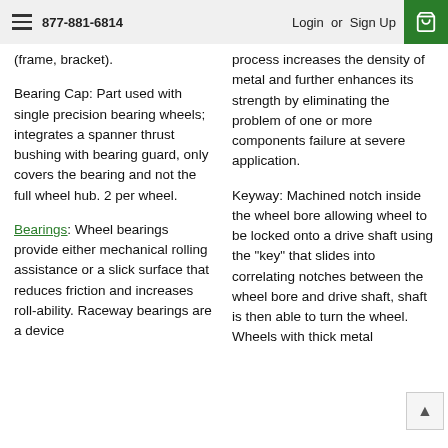877-881-6814  Login or Sign Up
(frame, bracket).
Bearing Cap: Part used with single precision bearing wheels; integrates a spanner thrust bushing with bearing guard, only covers the bearing and not the full wheel hub. 2 per wheel.
Bearings: Wheel bearings provide either mechanical rolling assistance or a slick surface that reduces friction and increases roll-ability. Raceway bearings are a device
process increases the density of metal and further enhances its strength by eliminating the problem of one or more components failure at severe application.
Keyway: Machined notch inside the wheel bore allowing wheel to be locked onto a drive shaft using the "key" that slides into correlating notches between the wheel bore and drive shaft, shaft is then able to turn the wheel. Wheels with thick metal